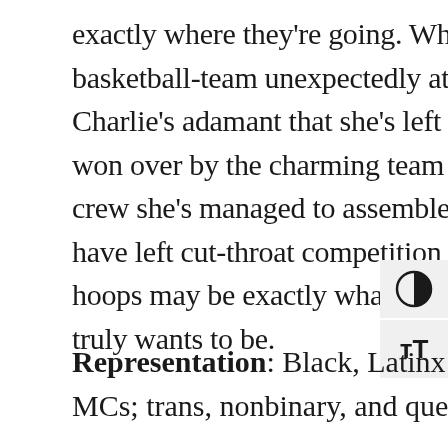exactly where they're going. When the school's barely-a-basketball-team unexpectedly attempts to recruit her, Charlie's adamant that she's left that life behind...until she's won over by the charming team captain, Liv, and the ragtag crew she's managed to assemble. And while Charlie may have left cut-throat competition in in the dust, sinking these hoops may be exactly what she needs to see the person she truly wants to be.
Representation: Black, Latinx & Chinese American MCs; trans, nonbinary, and queer characters.